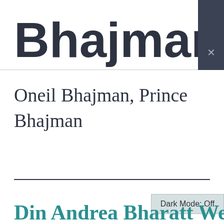Bhajman
Oneil Bhajman, Prince Bhajman
Dark Mode: Off
Din Andrea Bharatt We...